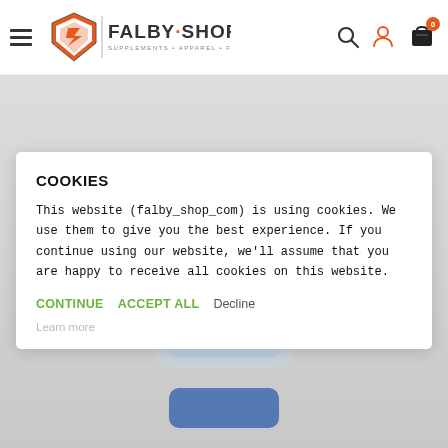[Figure (logo): Falby Shop logo with diamond/shield icon and text FALBY·SHOP SUPPLEMENTS · APPAREL · FITNESS · BODYBUILDING]
[Figure (photo): Background product image — a blue supplement bottle with EPA/DHA text, partially visible behind the cookie consent modal]
COOKIES
This website (falby_shop_com) is using cookies. We use them to give you the best experience. If you continue using our website, we'll assume that you are happy to receive all cookies on this website.
CONTINUE   ACCEPT ALL   Decline
Learn more